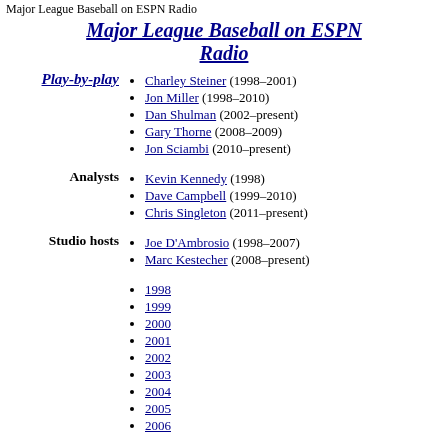Major League Baseball on ESPN Radio
Major League Baseball on ESPN Radio
Charley Steiner (1998–2001)
Jon Miller (1998–2010)
Dan Shulman (2002–present)
Gary Thorne (2008–2009)
Jon Sciambi (2010–present)
Kevin Kennedy (1998)
Dave Campbell (1999–2010)
Chris Singleton (2011–present)
Joe D'Ambrosio (1998–2007)
Marc Kestecher (2008–present)
1998
1999
2000
2001
2002
2003
2004
2005
2006